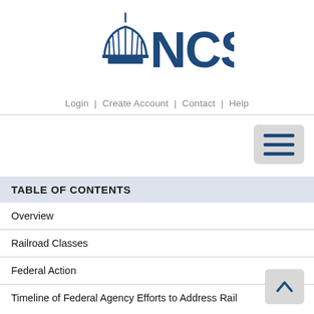[Figure (logo): NCSL (National Conference of State Legislatures) logo with capitol building dome icon in dark blue]
Login | Create Account | Contact | Help
[Figure (other): Hamburger menu icon (three horizontal lines) on a grey rounded background]
TABLE OF CONTENTS
Overview
Railroad Classes
Federal Action
Timeline of Federal Agency Efforts to Address Rail